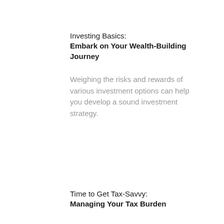Investing Basics:
Embark on Your Wealth-Building Journey
Weighing the risks and rewards of various investment options can help you develop a sound investment strategy.
Time to Get Tax-Savvy:
Managing Your Tax Burden